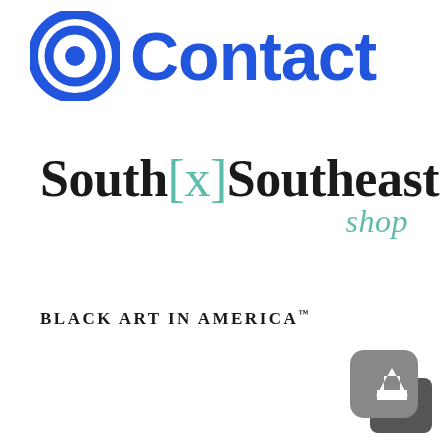[Figure (logo): Blue circular target/bullseye icon on the left, followed by large bold blue text 'Contact' on the right]
[Figure (logo): South[x]Southeast shop logo: 'South' in black serif, '[x]' in teal/mint brackets, 'Southeast' in black serif, and 'shop' in teal italic below right]
[Figure (logo): BLACK ART IN AMERICA™ text logo in bold black uppercase serif letters with trademark symbol]
[Figure (logo): Gray rounded square icon with white upward arrow, partially overlapping a darker gray square, bottom-right corner]